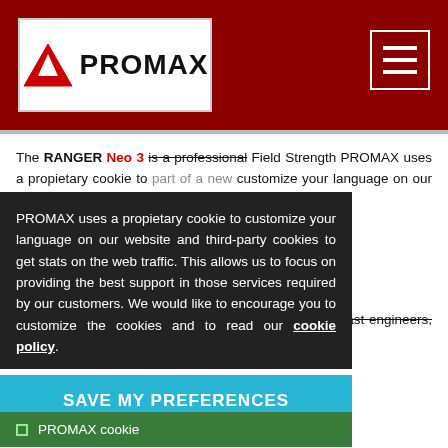PROMAX header with logo and navigation
The RANGER Neo 3 is a professional Field Strength ... part of a new ... CATV and WIFI
They are intended to help expert installers and broadcast engineers, not only make their classic installation and troubleshooting easier but also to face the new challenges brought about by the wireless world and the new video delivery platforms.
PROMAX uses a propietary cookie to customize your language on our website and third-party cookies to get stats on the web traffic. This allows us to focus on providing the best support in those services required by our customers. We would like to encourage you to customize the cookies and to read our cookie policy.
SAVE MY PREFERENCES
PROMAX cookie
Third-party cookies
... ional spectrum analyser capabilities are at the heart of the RANGER ... nded by many functions such as WIFI analyser (including real ... B compatibility, tellation diagram, dynamic echoes analysis, etc...,